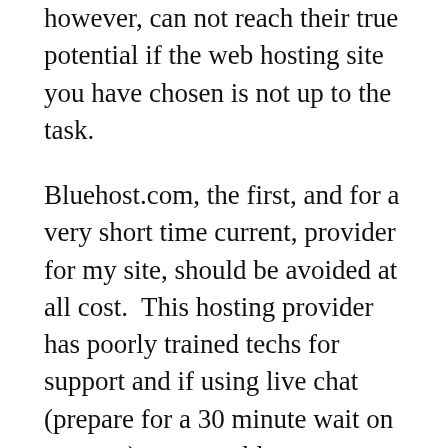however, can not reach their true potential if the web hosting site you have chosen is not up to the task.
Bluehost.com, the first, and for a very short time current, provider for my site, should be avoided at all cost.  This hosting provider has poorly trained techs for support and if using live chat (prepare for a 30 minute wait on average)  your problems are attended to along with several others, there is no “individual support” here. With their phone support, expect either platitudes, condescension, inept/incorrect responses and a problem not completely